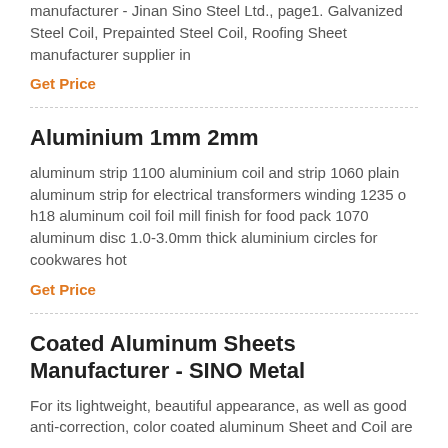manufacturer - Jinan Sino Steel Ltd., page1. Galvanized Steel Coil, Prepainted Steel Coil, Roofing Sheet manufacturer supplier in
Get Price
Aluminium 1mm 2mm
aluminum strip 1100 aluminium coil and strip 1060 plain aluminum strip for electrical transformers winding 1235 o h18 aluminum coil foil mill finish for food pack 1070 aluminum disc 1.0-3.0mm thick aluminium circles for cookwares hot
Get Price
Coated Aluminum Sheets Manufacturer - SINO Metal
For its lightweight, beautiful appearance, as well as good anti-correction, color coated aluminum Sheet and Coil are